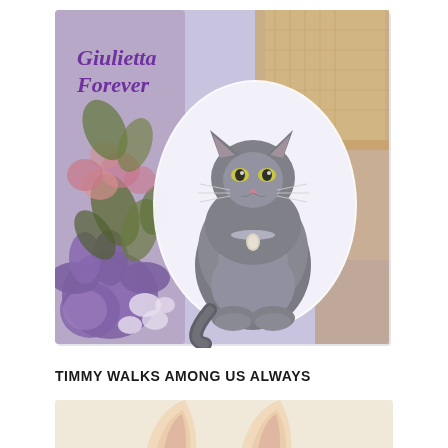[Figure (photo): A memorial photo composition featuring a fluffy gray cat (Giulietta) seated in center on a lavender/purple background with floral decorations (purple and pink flowers with leaves) on the left side. The cat is framed in a white oval. Text in purple cursive script in upper-left reads 'Giulietta Forever'. The overall frame has a soft lavender border.]
TIMMY WALKS AMONG US ALWAYS
[Figure (photo): Partial view of a cat illustration or photo on a cream/beige background, showing cat ears at the bottom of the page.]